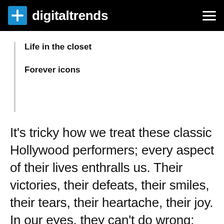digitaltrends
Life in the closet
Forever icons
It's tricky how we treat these classic Hollywood performers; every aspect of their lives enthralls us. Their victories, their defeats, their smiles, their tears, their heartache, their joy. In our eyes, they can't do wrong; their mistakes become